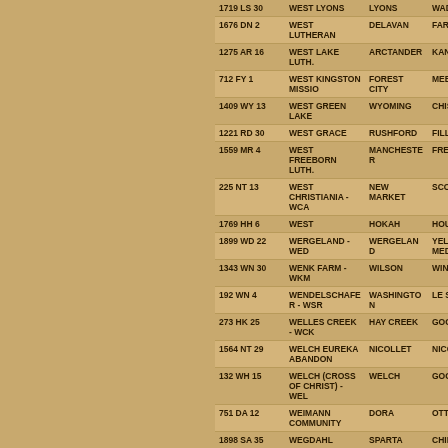| 1719 LS 30 | WEST LYONS | LYONS | WADENA |
| 1676 DN 2 | WEST LUTHERAN | DELAVAN | FARIBAULT |
| 1275 AR 16 | WEST LAKE LUTH. | ARCTANDER | KANDIYOHI |
| 712 FY 1 | WEST KINGSTON MISSIO | FOREST CITY | MEEKER |
| 1409 WY 13 | WEST GREEN LAKE | WYOMING | CHISAGO |
| 1221 RD 30 | WEST GRACE | RUSHFORD | FILLMORE |
| 1559 MR 4 | WEST FREEBORN LUTH. | MANCHESTER | FREEBORN |
| 225 NT 13 | WEST CHRISTIANIA - WCA | NEW MARKET | SCOTT |
| 1769 HH 6 | WEST | HOKAH | HOUSTON |
| 1899 WD 22 | WERGELAND - WED | WERGELAND | YELLOW MEDICINE |
| 1343 WN 30 | WENK FARM - WKM | WILSON | WINONA |
| 192 WN 4 | WENDELSCHAFER - WSR | WASHINGTON | LE SUEUR |
| 273 HK 25 | WELLES CREEK - WCK | HAY CREEK | GOODHUE |
| 1564 NT 29 | WELCH EUREKA ABANDON | NICOLLET | NICOLLET |
| 132 WH 15 | WELCH (CROSS OF CHRIST) - WEL | WELCH | GOODHUE |
| 751 DA 12 | WEIMANN COMMUNITY | DORA | OTTER TAIL |
| 1898 SA 35 | WEGDAHL | SPARTA | CHIPPEWA |
| 515 NE | WECKWORTH | NEW ROME | SIBLEY |
| 462 ME | WEAVER LAKE | MAPLE GROVE | HENNEPIN |
| 569 WA 22 | WAWINA | WAWINA | ITASCA |